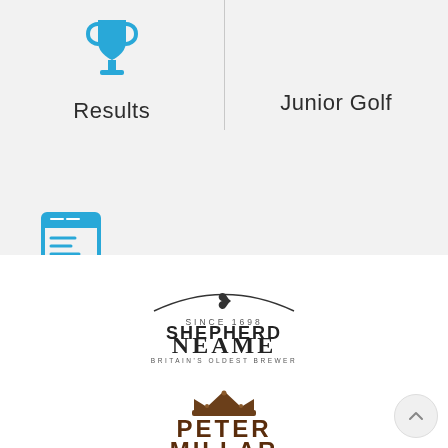[Figure (logo): Blue trophy icon for Results navigation]
Results
Junior Golf
[Figure (logo): Blue entry form / clipboard icon for Entry Forms navigation]
Entry Forms
[Figure (logo): Shepherd Neame - Britain's Oldest Brewer logo, black and white, Since 1698]
[Figure (logo): Peter Millar logo with crown, brown/gold color]